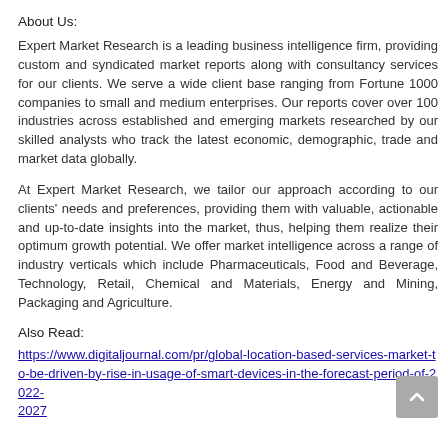About Us:
Expert Market Research is a leading business intelligence firm, providing custom and syndicated market reports along with consultancy services for our clients. We serve a wide client base ranging from Fortune 1000 companies to small and medium enterprises. Our reports cover over 100 industries across established and emerging markets researched by our skilled analysts who track the latest economic, demographic, trade and market data globally.
At Expert Market Research, we tailor our approach according to our clients' needs and preferences, providing them with valuable, actionable and up-to-date insights into the market, thus, helping them realize their optimum growth potential. We offer market intelligence across a range of industry verticals which include Pharmaceuticals, Food and Beverage, Technology, Retail, Chemical and Materials, Energy and Mining, Packaging and Agriculture.
Also Read:
https://www.digitaljournal.com/pr/global-location-based-services-market-to-be-driven-by-rise-in-usage-of-smart-devices-in-the-forecast-period-of-2022-2027